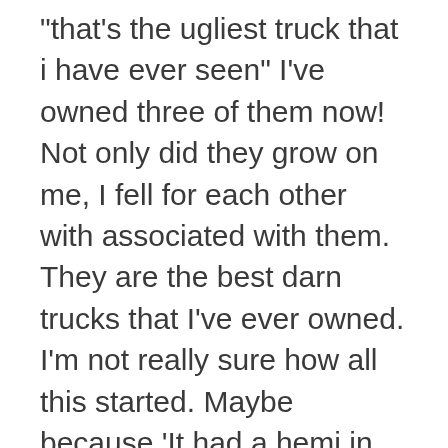“that's the ugliest truck that i have ever seen” I've owned three of them now! Not only did they grow on me, I fell for each other with associated with them. They are the best darn trucks that I've ever owned. I'm not really sure how all this started. Maybe because 'It had a hemi in it'! I am not sure. The point is this, when you receive benefits from something, a truck, a car, or perhaps this case, independence and money savings, ugly has some way of disappearing and begins looking great!
Once you obtain that done you might go on known as and determine if it needs further repair or you may need in order to the entire thing. The actual way you about this approach is by calling